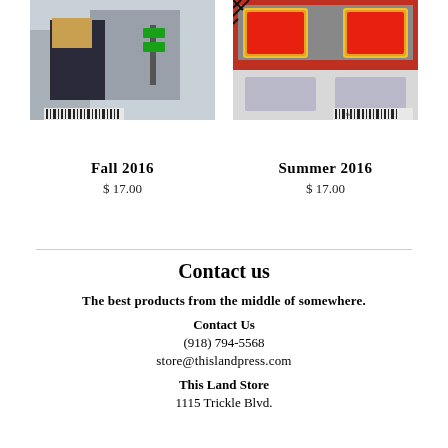[Figure (photo): Photo of a person carrying a box outdoors, street scene with signs in background]
[Figure (photo): Close-up photo of the rear of a red emergency vehicle showing tail lights and headlights]
Fall 2016
$ 17.00
Summer 2016
$ 17.00
Contact us
The best products from the middle of somewhere.
Contact Us
(918) 794-5568
store@thislandpress.com
This Land Store
1115 Trickle Blvd.